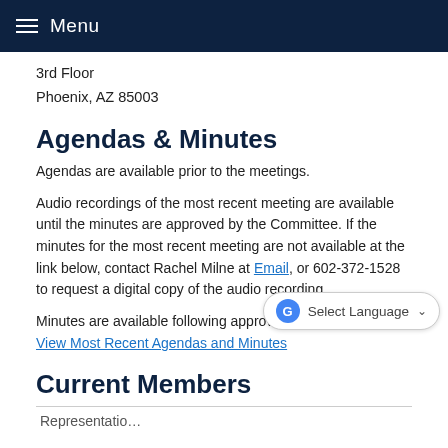Menu
3rd Floor
Phoenix, AZ 85003
Agendas & Minutes
Agendas are available prior to the meetings.
Audio recordings of the most recent meeting are available until the minutes are approved by the Committee. If the minutes for the most recent meeting are not available at the link below, contact Rachel Milne at Email, or 602-372-1528 to request a digital copy of the audio recording.
Minutes are available following approval by the Committee.
View Most Recent Agendas and Minutes
Current Members
| Representatio… |
| --- |